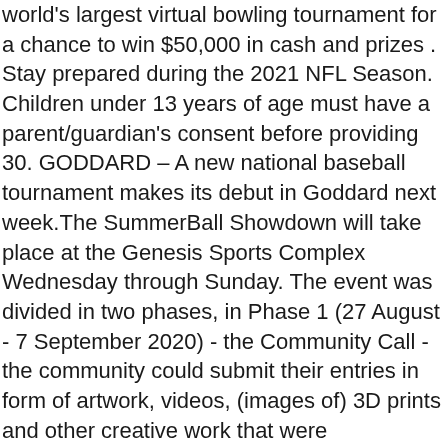world's largest virtual bowling tournament for a chance to win $50,000 in cash and prizes . Stay prepared during the 2021 NFL Season. Children under 13 years of age must have a parent/guardian's consent before providing 30. GODDARD – A new national baseball tournament makes its debut in Goddard next week.The SummerBall Showdown will take place at the Genesis Sports Complex Wednesday through Sunday. The event was divided in two phases, in Phase 1 (27 August - 7 September 2020) - the Community Call - the community could submit their entries in form of artwork, videos, (images of) 3D prints and other creative work that were thematically about any flyable Star … The FTW Summer Showdown, sponsored by T1 and G FUEL, will take place on Saturday, September 12 beginning at 12 p.m. PT, with the qualifiers starting on September 5. $60.00 for 2 person team entry fee donation (40 team maximum) Tournament Schedule. Suite Offers Book Your Stay. Found inside – Page 367Sorezore no Tabidachi" (それぞれの旅立ち) September 3, 1994 December 17, ... 2006 107 "The Demon World Tournament Begins" "Fierce Fighting! The details are